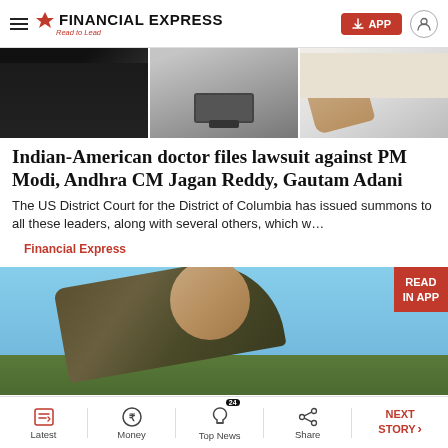FINANCIAL EXPRESS — Read to Lead
[Figure (photo): Three side-by-side images: dark jacket close-up, a laptop/printer device, and a person's hand gesturing]
Indian-American doctor files lawsuit against PM Modi, Andhra CM Jagan Reddy, Gautam Adani
The US District Court for the District of Columbia has issued summons to all these leaders, along with several others, which w…
Financial Express
[Figure (photo): A soldier in camouflage gear looking upward against a blue sky background, with a READ IN APP badge in the top-right corner]
Latest | Money | Top News (24) | Share | NEXT STORY →